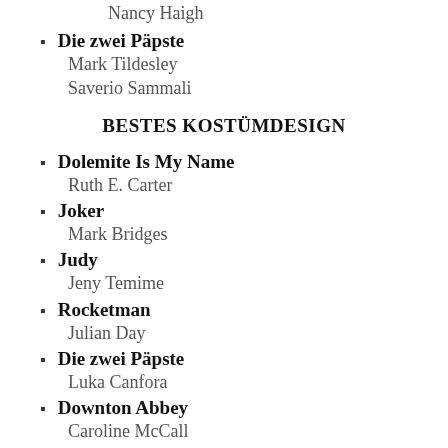Die zwei Päpste
Mark Tildesley
Saverio Sammali
BESTES KOSTÜMDESIGN
Dolemite Is My Name
Ruth E. Carter
Joker
Mark Bridges
Judy
Jeny Temime
Rocketman
Julian Day
Die zwei Päpste
Luka Canfora
Downton Abbey
Caroline McCall